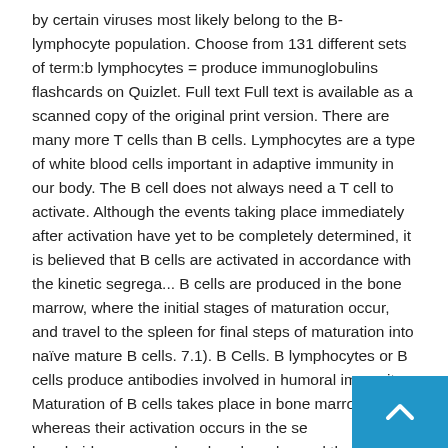by certain viruses most likely belong to the B-lymphocyte population. Choose from 131 different sets of term:b lymphocytes = produce immunoglobulins flashcards on Quizlet. Full text Full text is available as a scanned copy of the original print version. There are many more T cells than B cells. Lymphocytes are a type of white blood cells important in adaptive immunity in our body. The B cell does not always need a T cell to activate. Although the events taking place immediately after activation have yet to be completely determined, it is believed that B cells are activated in accordance with the kinetic segrega... B cells are produced in the bone marrow, where the initial stages of maturation occur, and travel to the spleen for final steps of maturation into naïve mature B cells. 7.1). B Cells. B lymphocytes or B cells produce antibodies involved in humoral immunity. Maturation of B cells takes place in bone marrow, whereas their activation occurs in the secondary lymphoid organs such as lymph nodes and the sp